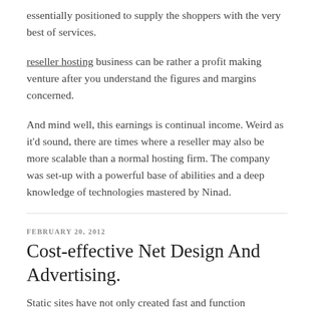essentially positioned to supply the shoppers with the very best of services.
reseller hosting business can be rather a profit making venture after you understand the figures and margins concerned.
And mind well, this earnings is continual income. Weird as it'd sound, there are times where a reseller may also be more scalable than a normal hosting firm. The company was set-up with a powerful base of abilities and a deep knowledge of technologies mastered by Ninad.
FEBRUARY 20, 2012
Cost-effective Net Design And Advertising.
Static sites have not only created fast and function...